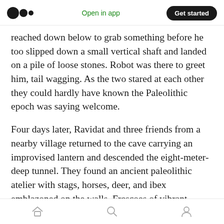Medium logo | Open in app | Get started
reached down below to grab something before he too slipped down a small vertical shaft and landed on a pile of loose stones. Robot was there to greet him, tail wagging. As the two stared at each other they could hardly have known the Paleolithic epoch was saying welcome.
Four days later, Ravidat and three friends from a nearby village returned to the cave carrying an improvised lantern and descended the eight-meter-deep tunnel. They found an ancient paleolithic atelier with stags, horses, deer, and ibex emblazoned on the walls. Frescoes of vibrant
Home | Search | Profile